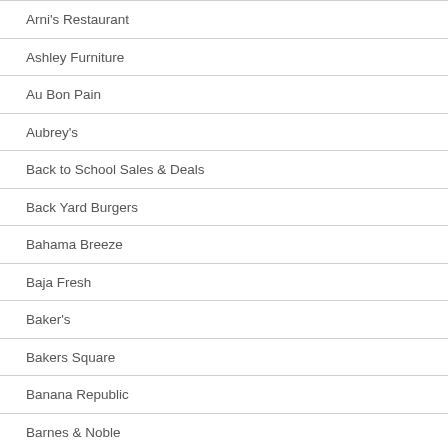Arni's Restaurant
Ashley Furniture
Au Bon Pain
Aubrey's
Back to School Sales & Deals
Back Yard Burgers
Bahama Breeze
Baja Fresh
Baker's
Bakers Square
Banana Republic
Barnes & Noble
Baskin-Robbins
Bass Pro Shops